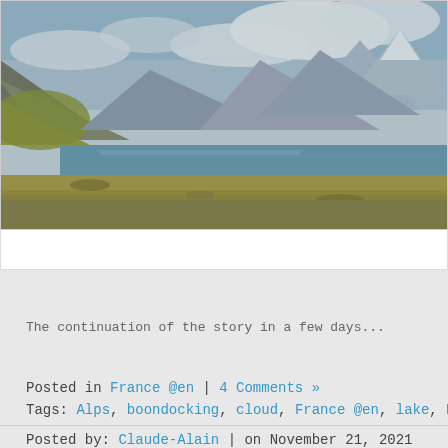[Figure (photo): Mountain lake landscape with rocky hills and grass plains, cloudy sky, panoramic view of a high-altitude lake surrounded by mountains.]
The continuation of the story in a few days...
Posted in France @en | 4 Comments »
Tags: Alps, boondocking, cloud, France @en, lake, Mont-Cenis, mount
Posted by: Claude-Alain | on November 21, 2021